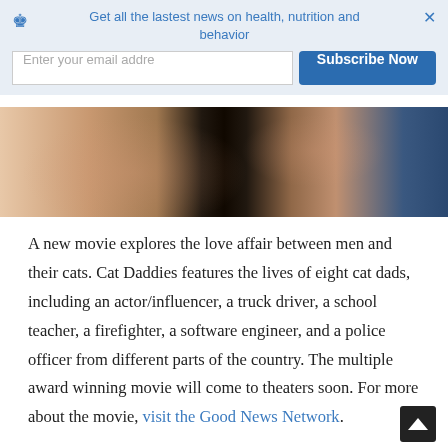Get all the lastest news on health, nutrition and behavior
[Figure (screenshot): Newsletter subscription banner with email input and Subscribe Now button]
[Figure (photo): Close-up photo of a person's hand, likely petting a cat, with a dark background]
A new movie explores the love affair between men and their cats. Cat Daddies features the lives of eight cat dads, including an actor/influencer, a truck driver, a school teacher, a firefighter, a software engineer, and a police officer from different parts of the country. The multiple award winning movie will come to theaters soon. For more about the movie, visit the Good News Network.
If you missed any of the stories featured on the Conscious Cat this week, here's a recap: